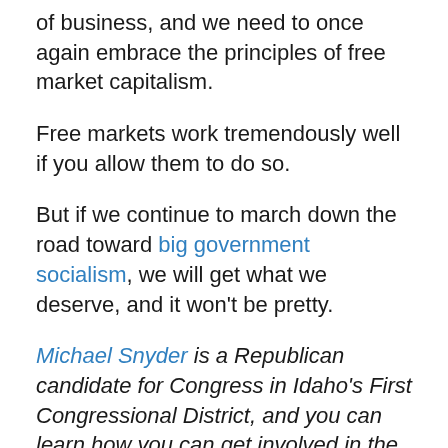of business, and we need to once again embrace the principles of free market capitalism.
Free markets work tremendously well if you allow them to do so.
But if we continue to march down the road toward big government socialism, we will get what we deserve, and it won't be pretty.
Michael Snyder is a Republican candidate for Congress in Idaho’s First Congressional District, and you can learn how you can get involved in the campaign on his official website. His new book entitled “Living A Life That Really Matters” is available in paperback and for the Kindle on Amazon.com.